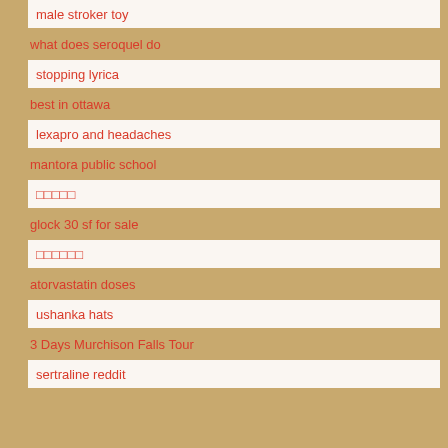male stroker toy
what does seroquel do
stopping lyrica
best in ottawa
lexapro and headaches
mantora public school
□□□□□
glock 30 sf for sale
□□□□□□
atorvastatin doses
ushanka hats
3 Days Murchison Falls Tour
sertraline reddit